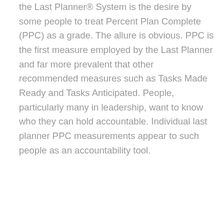the Last Planner® System is the desire by some people to treat Percent Plan Complete (PPC) as a grade. The allure is obvious. PPC is the first measure employed by the Last Planner and far more prevalent that other recommended measures such as Tasks Made Ready and Tasks Anticipated. People, particularly many in leadership, want to know who they can hold accountable. Individual last planner PPC measurements appear to such people as an accountability tool.